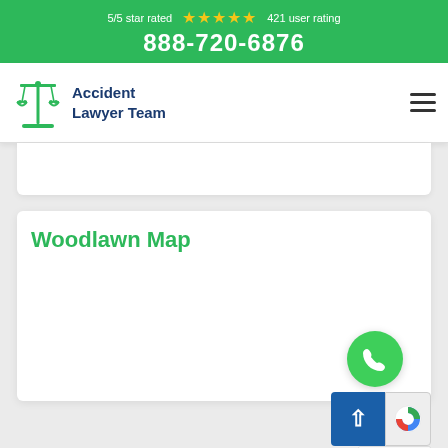5/5 star rated ★★★★★ 421 user rating
888-720-6876
[Figure (logo): Accident Lawyer Team logo with scales of justice icon and text 'Accident Lawyer Team' in dark blue]
Woodlawn Map
[Figure (map): Woodlawn map area placeholder (blank white area)]
[Figure (other): Green circular phone call button]
[Figure (other): Blue back-to-top button with up arrow and reCAPTCHA badge showing Privacy - Terms]